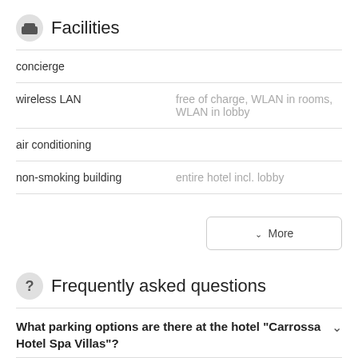Facilities
concierge
wireless LAN	free of charge, WLAN in rooms, WLAN in lobby
air conditioning
non-smoking building	entire hotel incl. lobby
∨  More
Frequently asked questions
What parking options are there at the hotel "Carrossa Hotel Spa Villas"?